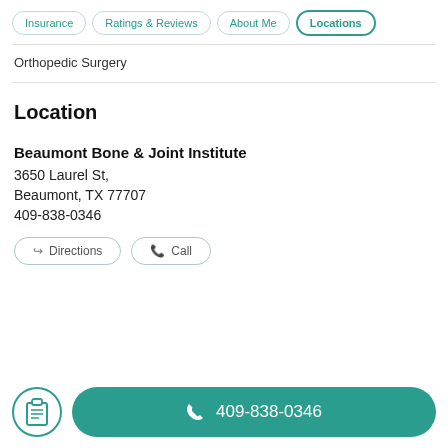Insurance | Ratings & Reviews | About Me | Locations
Orthopedic Surgery
Location
Beaumont Bone & Joint Institute
3650 Laurel St,
Beaumont, TX 77707
409-838-0346
Directions   Call
409-838-0346